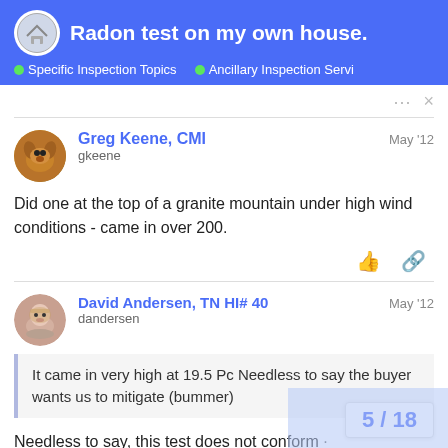Radon test on my own house. | Specific Inspection Topics | Ancillary Inspection Servi
Greg Keene, CMI — gkeene — May '12
Did one at the top of a granite mountain under high wind conditions - came in over 200.
David Andersen, TN HI# 40 — dandersen — May '12
It came in very high at 19.5 Pc Needless to say the buyer wants us to mitigate (bummer)
Needless to say, this test does not conform and mitigation is not an option at this point
5 / 18